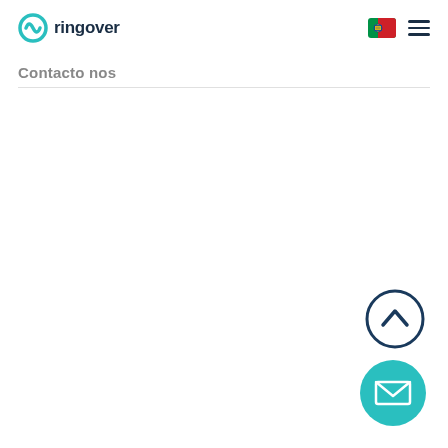ringover
Contacto nos
[Figure (illustration): Scroll-to-top circular button with chevron up arrow in dark navy blue stroke style]
[Figure (illustration): Email/contact circular button with envelope icon in teal/turquoise fill]